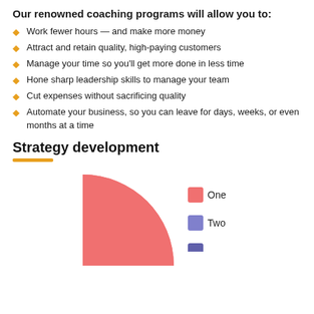Our renowned coaching programs will allow you to:
Work fewer hours — and make more money
Attract and retain quality, high-paying customers
Manage your time so you'll get more done in less time
Hone sharp leadership skills to manage your team
Cut expenses without sacrificing quality
Automate your business, so you can leave for days, weeks, or even months at a time
Strategy development
[Figure (pie-chart): Partially visible pie chart with three slices: One (salmon/red), Two (medium blue-purple), Three (darker blue-purple). Legend shows One, Two, and partial third entry.]